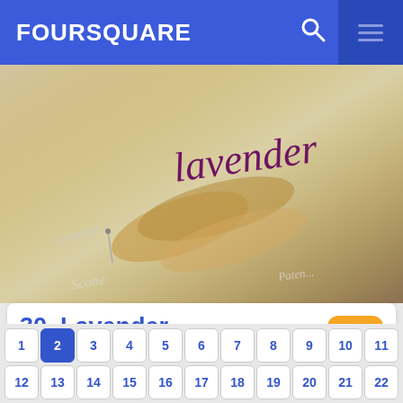FOURSQUARE
[Figure (photo): Photo of bread loaves in bags with handwritten label 'Lavender' and 'Bun' visible]
30. Lavender
Ground Floor, Mont Kiara, KL
░░░░░░░░ · Mont Kiara · 3 ░░░░░░░░░░░░░░░░░░░░░░
Adrian Cheong: Excellent breads and pastries
1
2
3
4
5
6
7
8
9
10
11
12
13
14
15
16
17
18
19
20
21
22